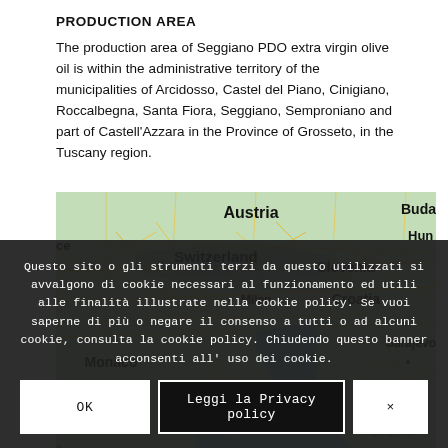PRODUCTION AREA
The production area of Seggiano PDO extra virgin olive oil is within the administrative territory of the municipalities of Arcidosso, Castel del Piano, Cinigiano, Roccalbegna, Santa Fiora, Seggiano, Semproniano and part of Castell'Azzara in the Province of Grosseto, in the Tuscany region.
[Figure (map): Map showing central Europe including Switzerland, Austria, Slovenia, Croatia, Monaco, Italy and surrounding regions with country labels and road networks visible.]
Questo sito o gli strumenti terzi da questo utilizzati si avvalgono di cookie necessari al funzionamento ed utili alle finalità illustrate nella cookie policy. Se vuoi saperne di più o negare il consenso a tutti o ad alcuni cookie, consulta la cookie policy. Chiudendo questo banner acconsenti all'uso dei cookie.